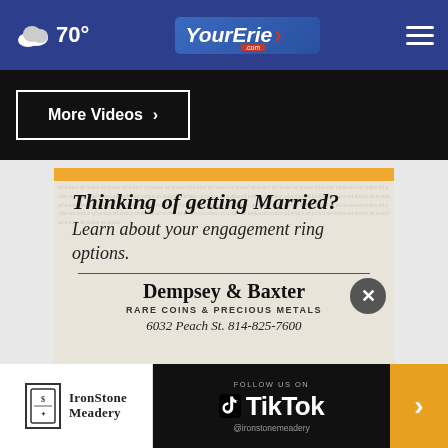70° YourErie.com
More Videos ›
[Figure (other): Newspaper advertisement for Dempsey & Baxter Rare Coins & Precious Metals with gold bar header. Text reads: Thinking of getting Married? Learn about your engagement ring options. Dempsey & Baxter RARE COINS & PRECIOUS METALS 6032 Peach St. 814-825-7600]
[Figure (other): Ironstone Meadery advertisement banner with TikTok follow prompt and orange arrow button. Shows Ironstone Meadery logo on left, black center with TikTok logo and text FOLLOW US ON TikTok @ironstonemeadery, orange right arrow button.]